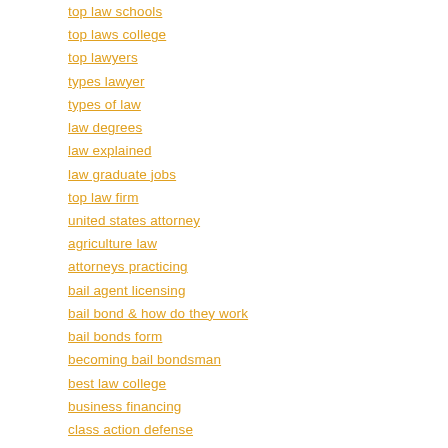top law schools
top laws college
top lawyers
types lawyer
types of law
law degrees
law explained
law graduate jobs
top law firm
united states attorney
agriculture law
attorneys practicing
bail agent licensing
bail bond & how do they work
bail bonds form
becoming bail bondsman
best law college
business financing
class action defense
construction defects & claims
contract disputes